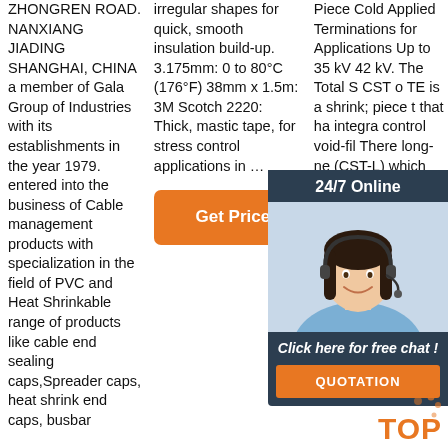ZHONGREN ROAD. NANXIANG JIADING SHANGHAI, CHINA a member of Gala Group of Industries with its establishments in the year 1979. entered into the business of Cable management products with specialization in the field of PVC and Heat Shrinkable range of products like cable end sealing caps,Spreader caps, heat shrink end caps, busbar
irregular shapes for quick, smooth insulation build-up. 3.175mm: 0 to 80°C (176°F) 38mm x 1.5m: 3M Scotch 2220: Thick, mastic tape, for stress control applications in …
[Figure (other): Orange 'Get Price' button]
Piece Cold Applied Terminations for Applications Up to 35 kV 42 kV. The Total S CST o TE is a shrink; piece t that ha integra control void-fil There long-ne (CST-L) which accommodates the use of a shear bolt connector without additional taping.
[Figure (other): 24/7 Online chat widget with customer service representative photo, 'Click here for free chat!' text, and QUOTATION orange button]
[Figure (logo): TOP logo with orange dots]